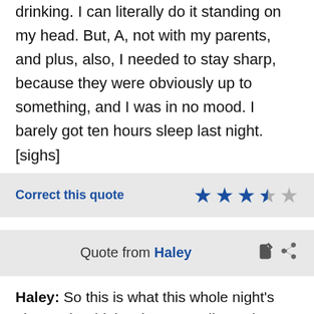drinking. I can literally do it standing on my head. But, A, not with my parents, and plus, also, I needed to stay sharp, because they were obviously up to something, and I was in no mood. I barely got ten hours sleep last night. [sighs]
Correct this quote
Quote from Haley
Haley: So this is what this whole night's about - the drinks, the pretending to be my friend?
Phil: We are your friend.